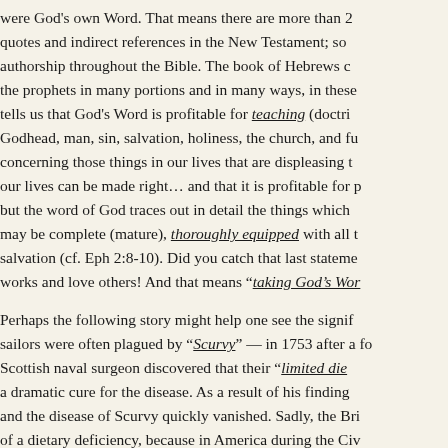were God's own Word. That means there are more than 2 quotes and indirect references in the New Testament; so authorship throughout the Bible. The book of Hebrews c the prophets in many portions and in many ways, in these tells us that God's Word is profitable for teaching (doctri Godhead, man, sin, salvation, holiness, the church, and fu concerning those things in our lives that are displeasing t our lives can be made right... and that it is profitable for p but the word of God traces out in detail the things which may be complete (mature), thoroughly equipped with all t salvation (cf. Eph 2:8-10). Did you catch that last stateme works and love others! And that means "taking God's Wor
Perhaps the following story might help one see the signif sailors were often plagued by "Scurvy" — in 1753 after a fo Scottish naval surgeon discovered that their "limited die a dramatic cure for the disease. As a result of his finding and the disease of Scurvy quickly vanished. Sadly, the Bri of a dietary deficiency, because in America during the Civ